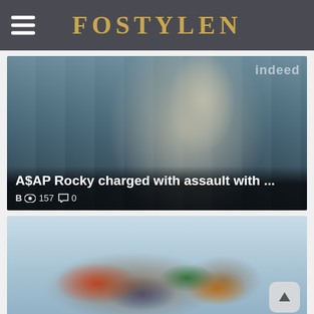FOSTYLEN
[Figure (photo): Celebrity (A$AP Rocky) smiling at an event with Indeed and Tribeca Festival branding in the background]
A$AP Rocky charged with assault with ...
B 👁 157 💬 0
[Figure (photo): Aerial view of a large crowd of people arranged in the shape of a world map on a light surface]